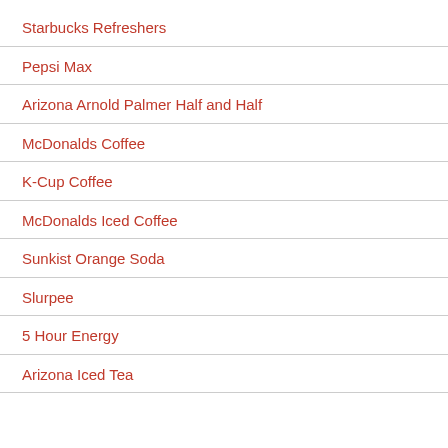Starbucks Refreshers
Pepsi Max
Arizona Arnold Palmer Half and Half
McDonalds Coffee
K-Cup Coffee
McDonalds Iced Coffee
Sunkist Orange Soda
Slurpee
5 Hour Energy
Arizona Iced Tea